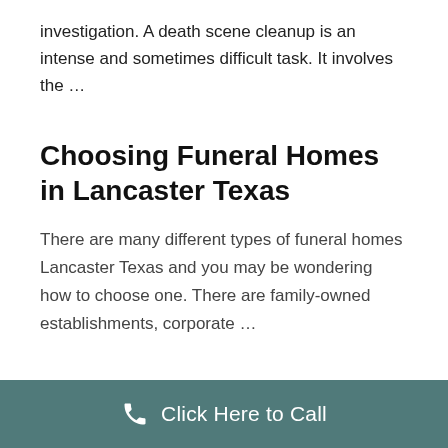investigation. A death scene cleanup is an intense and sometimes difficult task. It involves the ...
Choosing Funeral Homes in Lancaster Texas
There are many different types of funeral homes Lancaster Texas and you may be wondering how to choose one. There are family-owned establishments, corporate ...
Finding best Biohazard Crime
Click Here to Call